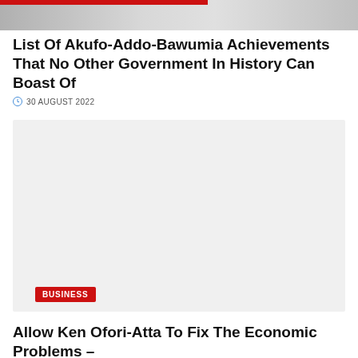[Figure (photo): Top portion of a news article hero image showing people, partially cropped with a red bar overlay at top]
List Of Akufo-Addo-Bawumia Achievements That No Other Government In History Can Boast Of
30 AUGUST 2022
[Figure (photo): Gray placeholder image for a news article]
BUSINESS
Allow Ken Ofori-Atta To Fix The Economic Problems –